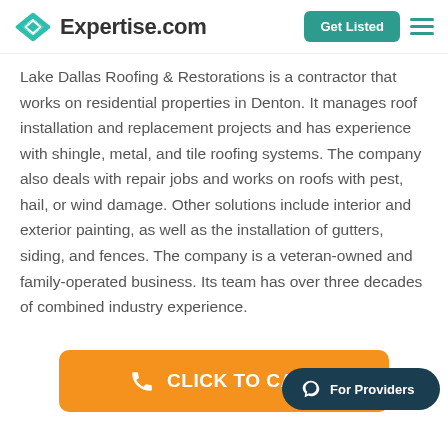Expertise.com
Lake Dallas Roofing & Restorations is a contractor that works on residential properties in Denton. It manages roof installation and replacement projects and has experience with shingle, metal, and tile roofing systems. The company also deals with repair jobs and works on roofs with pest, hail, or wind damage. Other solutions include interior and exterior painting, as well as the installation of gutters, siding, and fences. The company is a veteran-owned and family-operated business. Its team has over three decades of combined industry experience.
CLICK TO CALL
For Providers